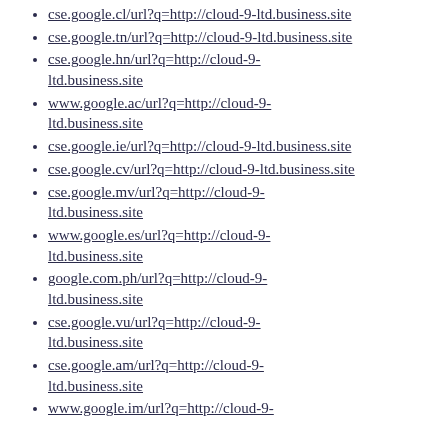cse.google.cl/url?q=http://cloud-9-ltd.business.site
cse.google.tn/url?q=http://cloud-9-ltd.business.site
cse.google.hn/url?q=http://cloud-9-ltd.business.site
www.google.ac/url?q=http://cloud-9-ltd.business.site
cse.google.ie/url?q=http://cloud-9-ltd.business.site
cse.google.cv/url?q=http://cloud-9-ltd.business.site
cse.google.mv/url?q=http://cloud-9-ltd.business.site
www.google.es/url?q=http://cloud-9-ltd.business.site
google.com.ph/url?q=http://cloud-9-ltd.business.site
cse.google.vu/url?q=http://cloud-9-ltd.business.site
cse.google.am/url?q=http://cloud-9-ltd.business.site
www.google.im/url?q=http://cloud-9-